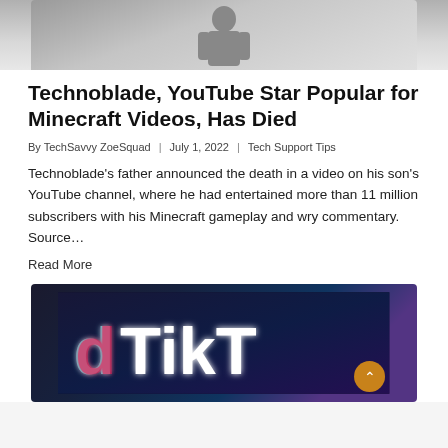[Figure (photo): Partial top image of a person/figure, cropped at top of page]
Technoblade, YouTube Star Popular for Minecraft Videos, Has Died
By TechSavvy ZoeSquad | July 1, 2022 | Tech Support Tips
Technoblade’s father announced the death in a video on his son’s YouTube channel, where he had entertained more than 11 million subscribers with his Minecraft gameplay and wry commentary. Source…
Read More
[Figure (photo): TikTok neon sign with blue, white, and pink glowing letters on a dark background]